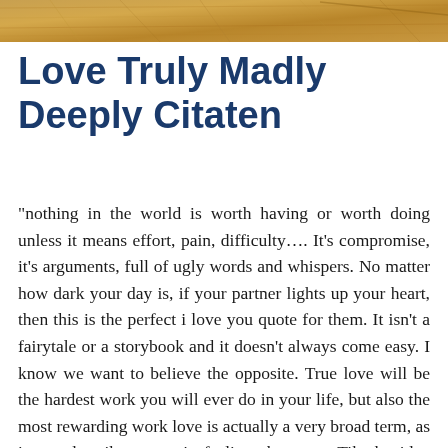[Figure (photo): Decorative banner image with warm brown/gold textured background, partially visible at top of page]
Love Truly Madly Deeply Citaten
“nothing in the world is worth having or worth doing unless it means effort, pain, difficulty…. It’s compromise, it’s arguments, full of ugly words and whispers. No matter how dark your day is, if your partner lights up your heart, then this is the perfect i love you quote for them. It isn't a fairytale or a storybook and it doesn't always come easy. I know we want to believe the opposite. True love will be the hardest work you will ever do in your life, but also the most rewarding work love is actually a very broad term, as it can describe romantic feelings between. Tiktok video from 2 .56am (@2 .56am);